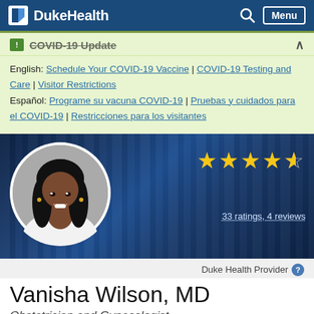Duke Health — Navigation bar with search and menu
COVID-19 Update
English: Schedule Your COVID-19 Vaccine | COVID-19 Testing and Care | Visitor Restrictions
Español: Programe su vacuna COVID-19 | Pruebas y cuidados para el COVID-19 | Restricciones para los visitantes
[Figure (photo): Circular headshot photo of Dr. Vanisha Wilson, MD, an African-American woman with long locs, smiling, wearing a white coat, set against a dark blue striped banner background with 4.5-star rating showing 33 ratings and 4 reviews]
Duke Health Provider
Vanisha Wilson, MD
Obstetrician and Gynecologist